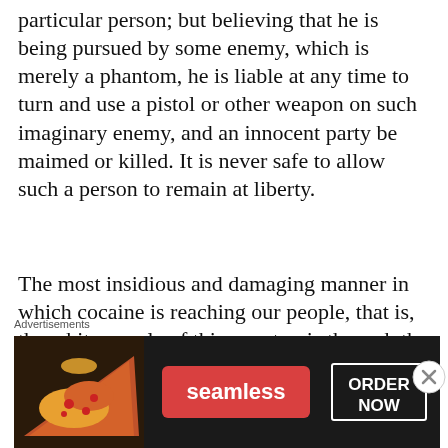particular person; but believing that he is being pursued by some enemy, which is merely a phantom, he is liable at any time to turn and use a pistol or other weapon on such imaginary enemy, and an innocent party be maimed or killed. It is never safe to allow such a person to remain at liberty.
The most insidious and damaging manner in which cocaine is reaching our people, that is, the white people of this country, is through the carbonated drinks for which many have such a passion. It is in the manufacture of such drinks that the bulk of cocaine is used. The great increase in the importation of cocaine leaves is not due to the demand for
Advertisements
[Figure (other): Seamless food delivery advertisement banner with pizza image on left, red Seamless logo badge in center, and ORDER NOW button on right, on dark background]